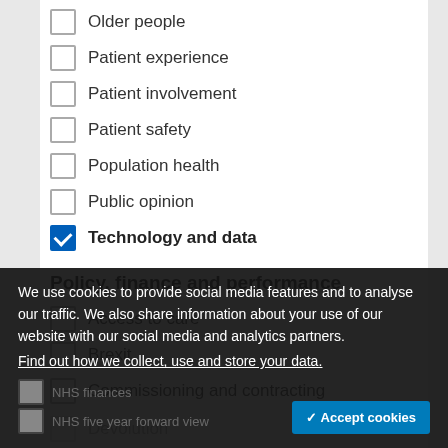Older people
Patient experience
Patient involvement
Patient safety
Population health
Public opinion
Technology and data (checked)
Policy, finance and performance
Access to care
Brexit
Commissioning and contracting
Devolution
NHS finances
NHS five year forward view
We use cookies to provide social media features and to analyse our traffic. We also share information about your use of our website with our social media and analytics partners. Find out how we collect, use and store your data.